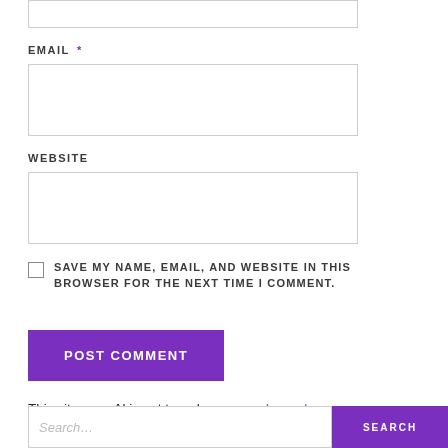[top input box — partial, cropped at top]
EMAIL *
[email input box]
WEBSITE
[website input box]
SAVE MY NAME, EMAIL, AND WEBSITE IN THIS BROWSER FOR THE NEXT TIME I COMMENT.
POST COMMENT
This site uses Akismet to reduce spam. Learn how your comment data is processed.
Search [search button]